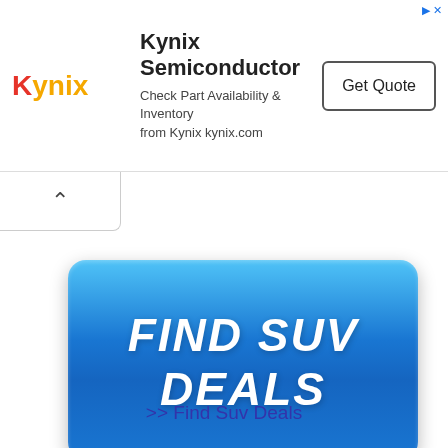[Figure (screenshot): Kynix Semiconductor advertisement banner with logo, text description, and Get Quote button]
[Figure (other): Collapsed tab area with upward chevron arrow]
[Figure (other): Large blue rounded button with text FIND SUV DEALS]
>> Find Suv Deals